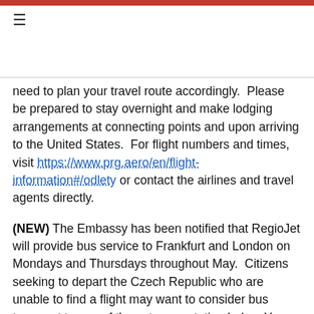≡
need to plan your travel route accordingly.  Please be prepared to stay overnight and make lodging arrangements at connecting points and upon arriving to the United States.  For flight numbers and times, visit https://www.prg.aero/en/flight-information#/odlety or contact the airlines and travel agents directly.
(NEW) The Embassy has been notified that RegioJet will provide bus service to Frankfurt and London on Mondays and Thursdays throughout May.  Citizens seeking to depart the Czech Republic who are unable to find a flight may want to consider bus transport to one of these transportation hubs.  You can now book tickets online at RegioJet.com.  Interested U.S. citizens can contact the U.S. Embassy at ACSPRG@state.gov for further information.